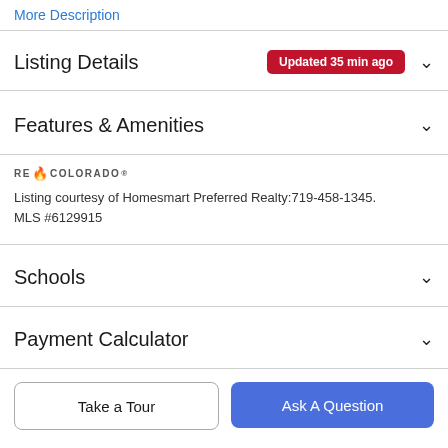More Description
Listing Details  Updated 35 min ago
Features & Amenities
[Figure (logo): RE Colorado logo with flame icon]
Listing courtesy of Homesmart Preferred Realty:719-458-1345. MLS #6129915
Schools
Payment Calculator
Take a Tour
Ask A Question